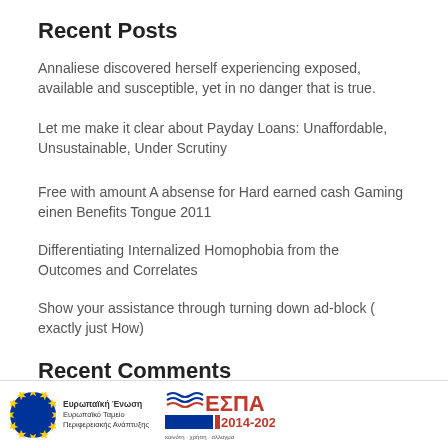Recent Posts
Annaliese discovered herself experiencing exposed, available and susceptible, yet in no danger that is true.
Let me make it clear about Payday Loans: Unaffordable, Unsustainable, Under Scrutiny
Free with amount A absense for Hard earned cash Gaming einen Benefits Tongue 2011
Differentiating Internalized Homophobia from the Outcomes and Correlates
Show your assistance through turning down ad-block ( exactly just How)
Recent Comments
[Figure (logo): EU flag logo with text Ευρωπαϊκή Ένωση and ΕΣΠΑ 2014-2020 logo]